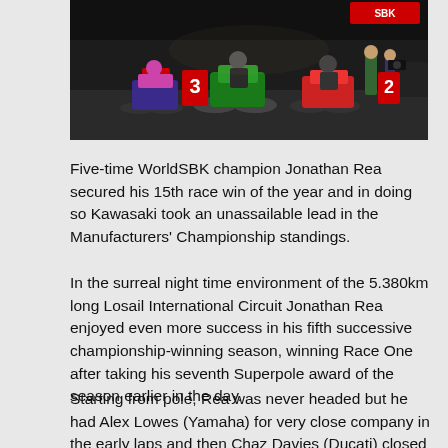[Figure (photo): Motorcycle racing scene at night, showing multiple riders on bikes including a green Kawasaki, with a SBK logo visible in the upper right corner and media/crew members present in the background.]
Five-time WorldSBK champion Jonathan Rea secured his 15th race win of the year and in doing so Kawasaki took an unassailable lead in the Manufacturers' Championship standings.
In the surreal night time environment of the 5.380km long Losail International Circuit Jonathan Rea enjoyed even more success in his fifth successive championship-winning season, winning Race One after taking his seventh Superpole award of the season earlier in the day.
Starting from pole, Rea was never headed but he had Alex Lowes (Yamaha) for very close company in the early laps and then Chaz Davies (Ducati) closed in for a period during the latter stages of the 17-lap contest. The Ducati rider eventually dropped back to finish 2.732 seconds behind